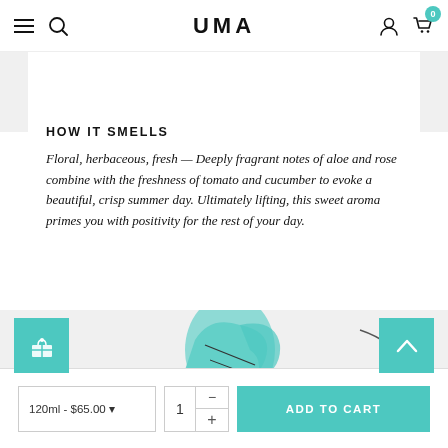UMA
[Figure (illustration): Decorative line illustrations of botanical/abstract shapes on light gray background]
HOW IT SMELLS
Floral, herbaceous, fresh — Deeply fragrant notes of aloe and rose combine with the freshness of tomato and cucumber to evoke a beautiful, crisp summer day. Ultimately lifting, this sweet aroma primes you with positivity for the rest of your day.
[Figure (illustration): Illustrated product drawing in teal/mint color with decorative background]
120ml - $65.00
1
ADD TO CART